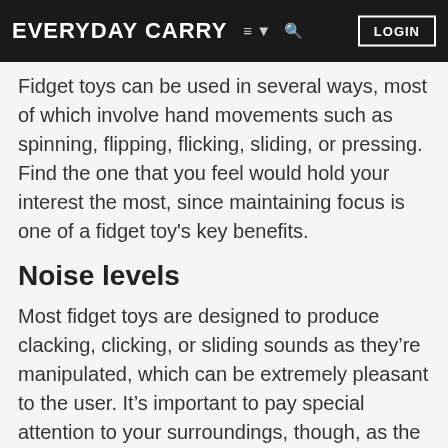EVERYDAY CARRY  ≡ ▾  🔍  LOGIN
Fidget toys can be used in several ways, most of which involve hand movements such as spinning, flipping, flicking, sliding, or pressing. Find the one that you feel would hold your interest the most, since maintaining focus is one of a fidget toy's key benefits.
Noise levels
Most fidget toys are designed to produce clacking, clicking, or sliding sounds as they're manipulated, which can be extremely pleasant to the user. It's important to pay special attention to your surroundings, though, as the people nearby may not appreciate hearing these sounds as much as you do. Some fidget toys can be operated silently, allowing you to enjoy them while being considerate...